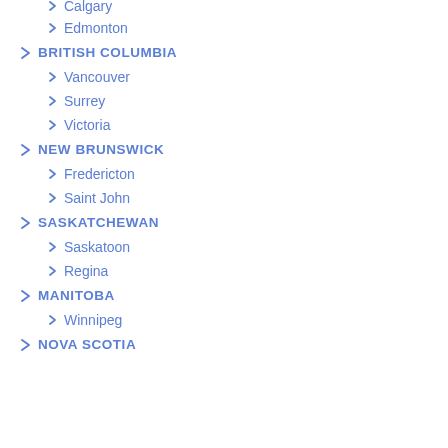Calgary
Edmonton
BRITISH COLUMBIA
Vancouver
Surrey
Victoria
NEW BRUNSWICK
Fredericton
Saint John
SASKATCHEWAN
Saskatoon
Regina
MANITOBA
Winnipeg
NOVA SCOTIA